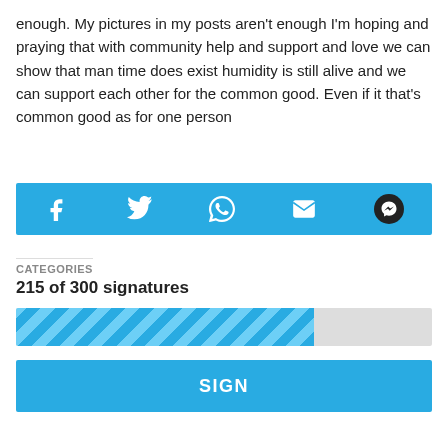enough. My pictures in my posts aren't enough I'm hoping and praying that with community help and support and love we can show that man time does exist humidity is still alive and we can support each other for the common good. Even if it that's common good as for one person
[Figure (other): Social share bar with icons for Facebook, Twitter, WhatsApp, Email, and Messenger on a blue background]
CATEGORIES
215 of 300 signatures
[Figure (other): Progress bar showing approximately 72% filled with diagonal striped blue pattern on grey background]
SIGN